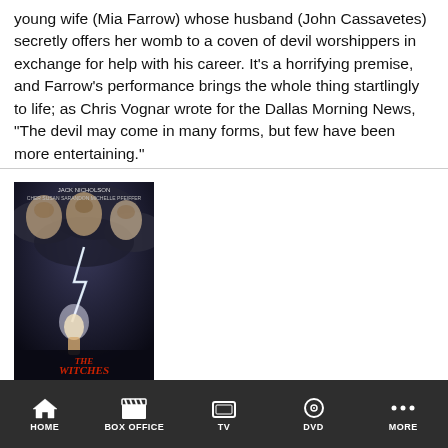young wife (Mia Farrow) whose husband (John Cassavetes) secretly offers her womb to a coven of devil worshippers in exchange for help with his career. It's a horrifying premise, and Farrow's performance brings the whole thing startlingly to life; as Chris Vognar wrote for the Dallas Morning News, "The devil may come in many forms, but few have been more entertaining."
[Figure (photo): Movie poster for The Witches of Eastwick, featuring Jack Nicholson, Cher, Susan Sarandon, Michelle Pfeiffer against a dark stormy sky with lightning]
88%
HOME   BOX OFFICE   TV   DVD   MORE